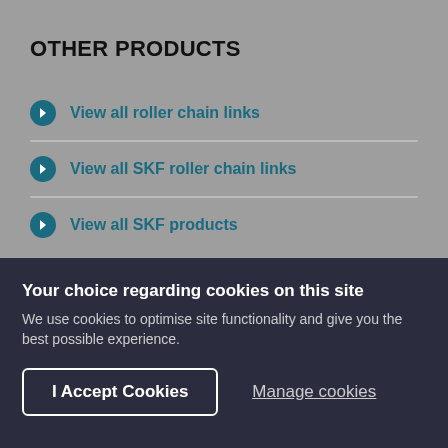OTHER PRODUCTS
View all roller chain links
View all SKF roller chain links
View all SKF products
Your choice regarding cookies on this site
We use cookies to optimise site functionality and give you the best possible experience.
I Accept Cookies
Manage cookies